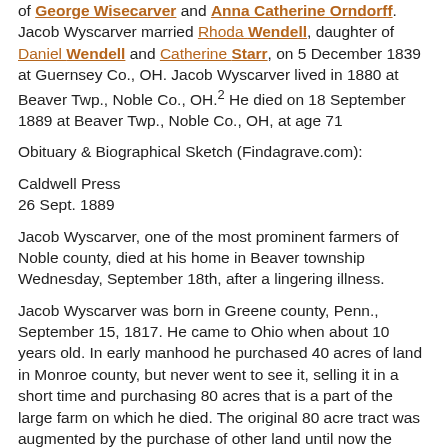of George Wisecarver and Anna Catherine Orndorff. Jacob Wyscarver married Rhoda Wendell, daughter of Daniel Wendell and Catherine Starr, on 5 December 1839 at Guernsey Co., OH. Jacob Wyscarver lived in 1880 at Beaver Twp., Noble Co., OH.2 He died on 18 September 1889 at Beaver Twp., Noble Co., OH, at age 71
Obituary & Biographical Sketch (Findagrave.com):
Caldwell Press
26 Sept. 1889
Jacob Wyscarver, one of the most prominent farmers of Noble county, died at his home in Beaver township Wednesday, September 18th, after a lingering illness.
Jacob Wyscarver was born in Greene county, Penn., September 15, 1817. He came to Ohio when about 10 years old. In early manhood he purchased 40 acres of land in Monroe county, but never went to see it, selling it in a short time and purchasing 80 acres that is a part of the large farm on which he died. The original 80 acre tract was augmented by the purchase of other land until now the Wyscarver homestead comprises over 800 acres of the best land in Noble county. The farm is the best improved and most